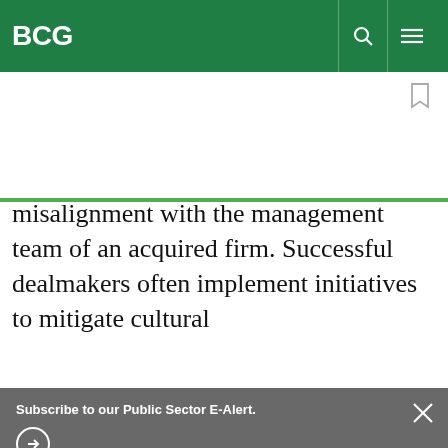BCG
misalignment with the management team of an acquired firm. Successful dealmakers often implement initiatives to mitigate cultural
Subscribe to our Public Sector E-Alert.
protected by reCaptcha
By using this site, you agree with our use of cookies.
I consent to cookies
Want to know more?
Read our Cookie Policy